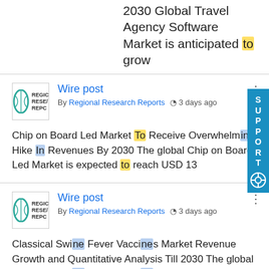2030 Global Travel Agency Software Market is anticipated to grow
Wire post
By Regional Research Reports  3 days ago
Chip on Board Led Market To Receive Overwhelming Hike In Revenues By 2030 The global Chip on Board Led Market is expected to reach USD 13
Wire post
By Regional Research Reports  3 days ago
Classical Swine Fever Vaccines Market Revenue Growth and Quantitative Analysis Till 2030 The global Classical Swine Fever Vaccines Market